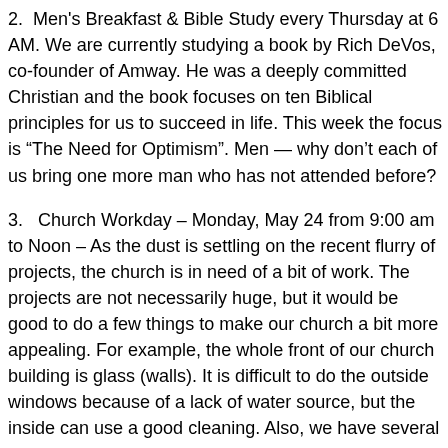2.  Men's Breakfast & Bible Study every Thursday at 6 AM. We are currently studying a book by Rich DeVos, co-founder of Amway. He was a deeply committed Christian and the book focuses on ten Biblical principles for us to succeed in life. This week the focus is “The Need for Optimism”. Men — why don’t each of us bring one more man who has not attended before?
3.   Church Workday – Monday, May 24 from 9:00 am to Noon – As the dust is settling on the recent flurry of projects, the church is in need of a bit of work. The projects are not necessarily huge, but it would be good to do a few things to make our church a bit more appealing. For example, the whole front of our church building is glass (walls). It is difficult to do the outside windows because of a lack of water source, but the inside can use a good cleaning. Also, we have several light fixtures that need to be